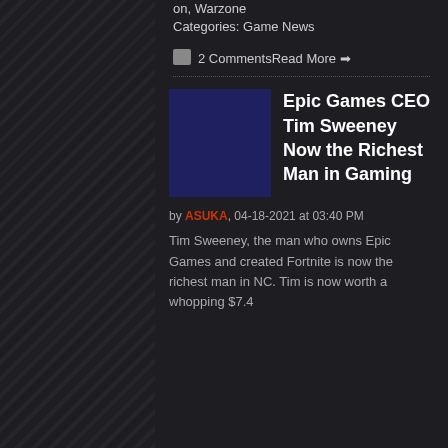Categories: Game News
💬 2 CommentsRead More ➡
[Figure (illustration): Dark navy blue square thumbnail placeholder for article]
Epic Games CEO Tim Sweeney Now the Richest Man in Gaming
by ASUKA, 04-18-2021 at 03:40 PM
Tim Sweeney, the man who owns Epic Games and created Fortnite is now the richest man in NC. Tim is now worth a whopping $7.4